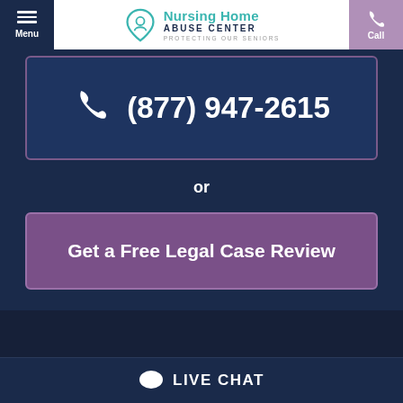Menu | Nursing Home Abuse Center - Protecting Our Seniors | Call
(877) 947-2615
or
Get a Free Legal Case Review
LIVE CHAT